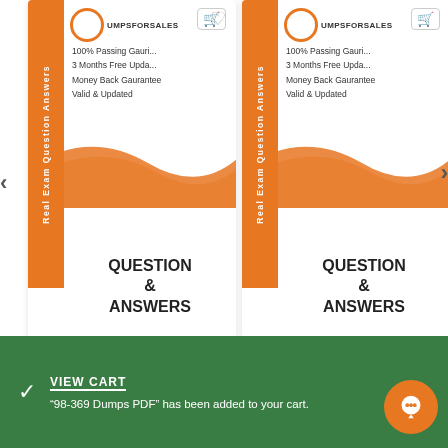[Figure (screenshot): Product card for 70-333 Dumps PDF showing orange vertical banner with 'Real Exam Question Answers', logo, bullet points (100% Passing Gauge, 3 Months Free Update, Money Back Guarantee, Valid & Updated), wave graphic, and QUESTION & ANSWERS text]
70-333 Dumps PDF
$40.00
[Figure (screenshot): Product card for 98-367 Dumps PDF showing orange vertical banner with 'Real Exam Question Answers', logo, bullet points (100% Passing Gauge, 3 Months Free Update, Money Back Guarantee, Valid & Updated), wave graphic, and QUESTION & ANSWERS text]
98-367 Dumps PDF
$40.00
VIEW CART
"98-369 Dumps PDF" has been added to your cart.